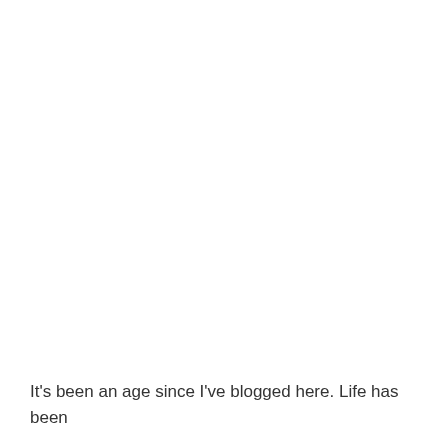It's been an age since I've blogged here. Life has been